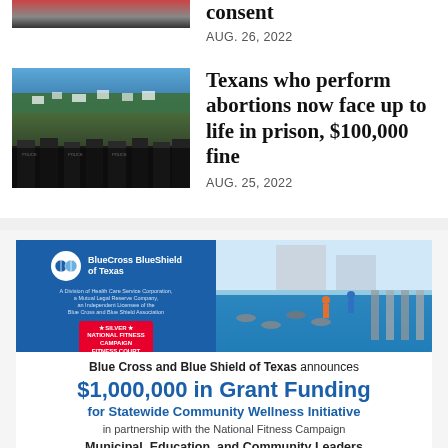consent
AUG. 26, 2022
[Figure (photo): Protest crowd with police in foreground]
Texans who perform abortions now face up to life in prison, $100,000 fine
AUG. 25, 2022
[Figure (photo): Blue Cross Blue Shield of Texas advertisement banner featuring National Fitness Campaign outdoor fitness court]
Blue Cross and Blue Shield of Texas announces $1,000,000 in Grant Funding for Statewide Community Wellness Initiative in partnership with the National Fitness Campaign
Municipal, Education, and Community Leaders